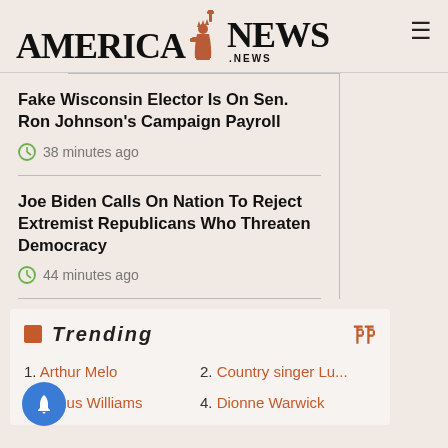AMERICA NEWS .NEWS
Fake Wisconsin Elector Is On Sen. Ron Johnson's Campaign Payroll
38 minutes ago
Joe Biden Calls On Nation To Reject Extremist Republicans Who Threaten Democracy
44 minutes ago
Trending
1. Arthur Melo
2. Country singer Lu...
3. Venus Williams
4. Dionne Warwick